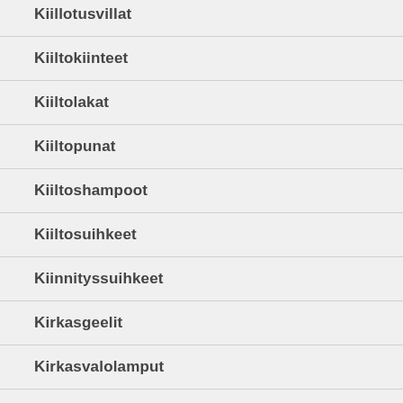Kiillotusvillat
Kiiltokiinteet
Kiiltolakat
Kiiltopunat
Kiiltoshampoot
Kiiltosuihkeet
Kiinnityssuihkeet
Kirkasgeelit
Kirkasvalolamput
Kivipuuterit